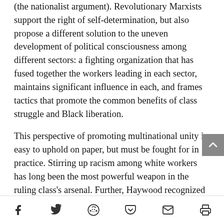(the nationalist argument). Revolutionary Marxists support the right of self-determination, but also propose a different solution to the uneven development of political consciousness among different sectors: a fighting organization that has fused together the workers leading in each sector, maintains significant influence in each, and frames tactics that promote the common benefits of class struggle and Black liberation.
This perspective of promoting multinational unity is easy to uphold on paper, but must be fought for in practice. Stirring up racism among white workers has long been the most powerful weapon in the ruling class's arsenal. Further, Haywood recognized that the nationalist sentiments of the Black working class inevitably would find some expression within the Party—a phenomenon that he warned against most [continues]
Share icons: Facebook, Twitter, Reddit, Pocket, Email, Print